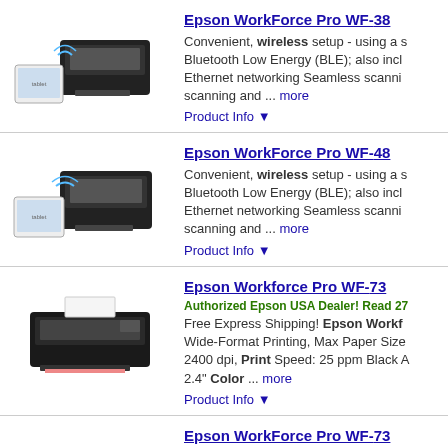[Figure (photo): Epson WorkForce Pro WF-38xx printer image - multifunction inkjet printer with tablet]
Epson WorkForce Pro WF-38...
Convenient, wireless setup - using a s... Bluetooth Low Energy (BLE); also incl... Ethernet networking Seamless scanni... scanning and ... more
Product Info ▼
[Figure (photo): Epson WorkForce Pro WF-48xx printer image - multifunction inkjet printer with tablet]
Epson WorkForce Pro WF-48...
Convenient, wireless setup - using a s... Bluetooth Low Energy (BLE); also incl... Ethernet networking Seamless scanni... scanning and ... more
Product Info ▼
[Figure (photo): Epson Workforce Pro WF-73xx printer image - wide format inkjet printer]
Epson Workforce Pro WF-73...
Authorized Epson USA Dealer! Read 27...
Free Express Shipping! Epson Workf... Wide-Format Printing, Max Paper Size... 2400 dpi, Print Speed: 25 ppm Black A... 2.4" Color ... more
Product Info ▼
[Figure (photo): Epson WorkForce Pro WF-73xx printer image - inkjet printer on desk]
Epson WorkForce Pro WF-73...
Complete wireless solution - stay con... network-free Wi-Fi Direct1 Zero warmu... with PrecisionCore Heat-Free Technol... Recyclable product5 ... more
Product Info ▼